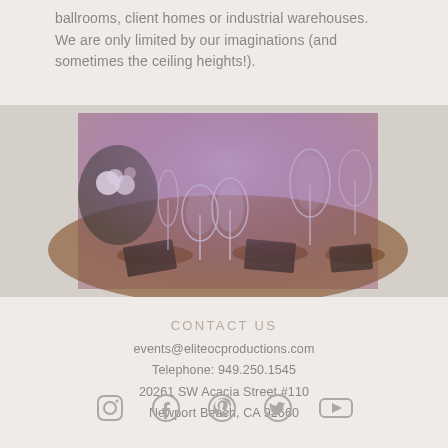ballrooms, client homes or industrial warehouses. We are only limited by our imaginations (and sometimes the ceiling heights!).
[Figure (photo): Elegant event table setting with crystal glassware, floral arrangements, and wooden charger plates under warm purple ambient lighting.]
CONTACT US
events@eliteocproductions.com
Telephone: 949.250.1545
20261 SW Acacia Street #110
Newport Beach, CA 92660
[Figure (illustration): Social media icons: Instagram, Facebook, Pinterest, Twitter, YouTube]